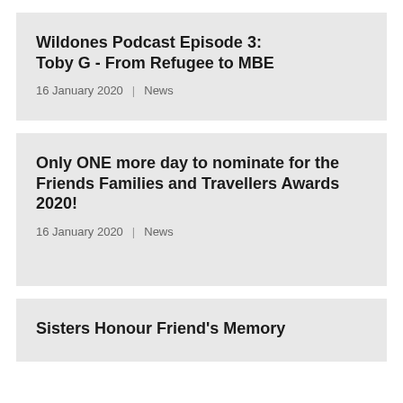Wildones Podcast Episode 3: Toby G - From Refugee to MBE
16 January 2020  |  News
Only ONE more day to nominate for the Friends Families and Travellers Awards 2020!
16 January 2020  |  News
Sisters Honour Friend's Memory